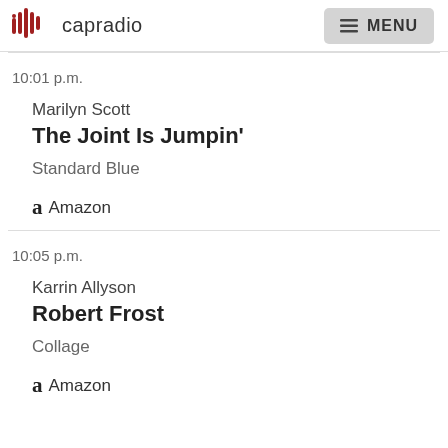capradio  MENU
10:01 p.m.
Marilyn Scott
The Joint Is Jumpin'
Standard Blue
Amazon
10:05 p.m.
Karrin Allyson
Robert Frost
Collage
Amazon